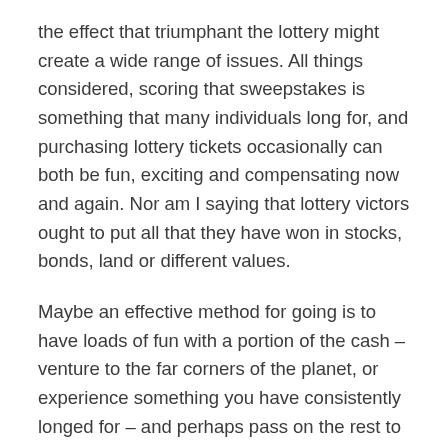the effect that triumphant the lottery might create a wide range of issues. All things considered, scoring that sweepstakes is something that many individuals long for, and purchasing lottery tickets occasionally can both be fun, exciting and compensating now and again. Nor am I saying that lottery victors ought to put all that they have won in stocks, bonds, land or different values.
Maybe an effective method for going is to have loads of fun with a portion of the cash – venture to the far corners of the planet, or experience something you have consistently longed for – and perhaps pass on the rest to tie down the monetary future for your family years to come? All things considered, we just live once....
The Basics of Home Window Repair